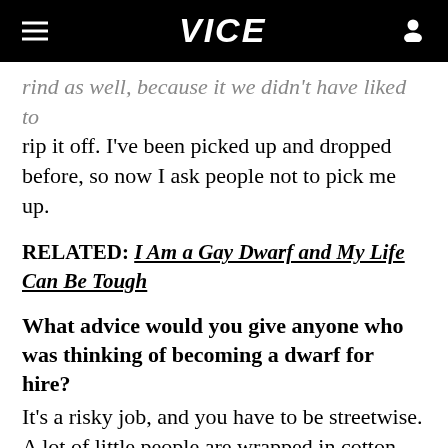VICE
rip it off. I've been picked up and dropped before, so now I ask people not to pick me up.
RELATED: I Am a Gay Dwarf and My Life Can Be Tough
What advice would you give anyone who was thinking of becoming a dwarf for hire? It's a risky job, and you have to be streetwise. A lot of little people are wrapped in cotton wool by their parents and might not have the backbone for it. I went on an event with another dwarf and they just stood there staring at the